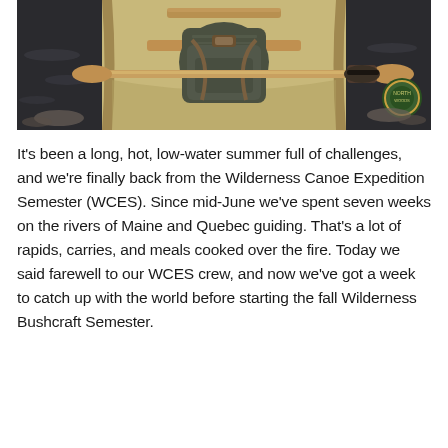[Figure (photo): View from inside a wooden canoe looking forward, showing a wooden paddle across the gunwales, a backpack in the middle of the canoe, dark water on either side with rocky shore, and a circular logo/patch on the right side.]
It's been a long, hot, low-water summer full of challenges, and we're finally back from the Wilderness Canoe Expedition Semester (WCES). Since mid-June we've spent seven weeks on the rivers of Maine and Quebec guiding. That's a lot of rapids, carries, and meals cooked over the fire. Today we said farewell to our WCES crew, and now we've got a week to catch up with the world before starting the fall Wilderness Bushcraft Semester.